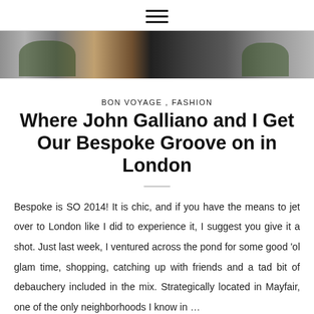☰
[Figure (photo): Hero photo of a London storefront with dark exterior, wooden door, and green planters]
BON VOYAGE , FASHION
Where John Galliano and I Get Our Bespoke Groove on in London
Bespoke is SO 2014! It is chic, and if you have the means to jet over to London like I did to experience it, I suggest you give it a shot. Just last week, I ventured across the pond for some good 'ol glam time, shopping, catching up with friends and a tad bit of debauchery included in the mix. Strategically located in Mayfair, one of the only neighborhoods I know in …